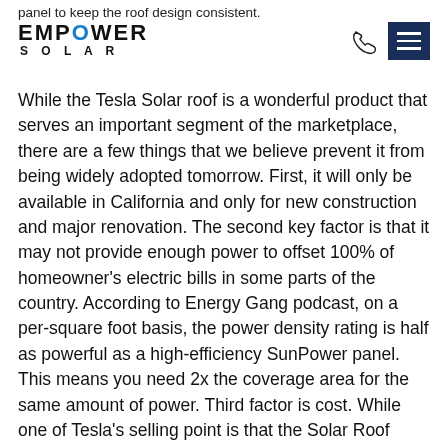panel to keep the roof design consistent.
[Figure (logo): Empower Solar logo with EMPOWER in large bold uppercase letters (O in blue) and SOLAR in smaller spaced uppercase letters below]
[Figure (illustration): Phone handset icon]
[Figure (illustration): Hamburger menu icon — three white horizontal lines on dark navy blue square background]
While the Tesla Solar roof is a wonderful product that serves an important segment of the marketplace, there are a few things that we believe prevent it from being widely adopted tomorrow. First, it will only be available in California and only for new construction and major renovation. The second key factor is that it may not provide enough power to offset 100% of homeowner's electric bills in some parts of the country. According to Energy Gang podcast, on a per-square foot basis, the power density rating is half as powerful as a high-efficiency SunPower panel. This means you need 2x the coverage area for the same amount of power. Third factor is cost. While one of Tesla's selling point is that the Solar Roof costs less than a similar style roof, it is important to note that they are comparing it to a high quality of a slate or clay tile roof; historically much more expensive than an asphalt